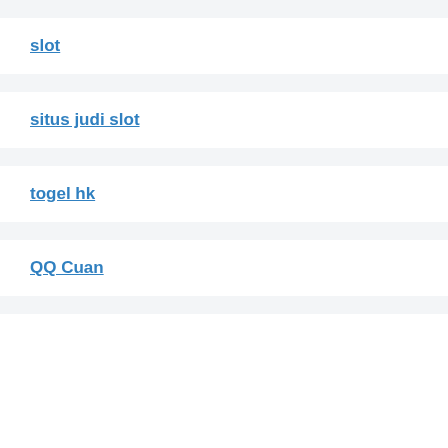slot
situs judi slot
togel hk
QQ Cuan